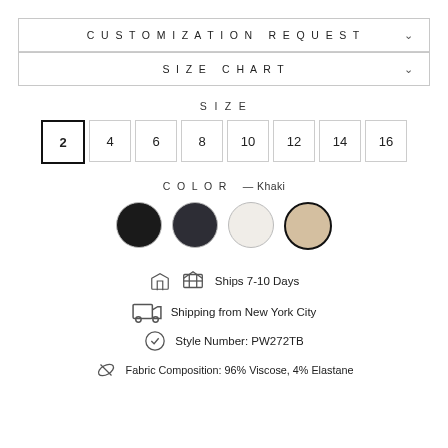CUSTOMIZATION REQUEST
SIZE CHART
SIZE
2 (selected), 4, 6, 8, 10, 12, 14, 16
COLOR — Khaki
Ships 7-10 Days
Shipping from New York City
Style Number: PW272TB
Fabric Composition: 96% Viscose, 4% Elastane